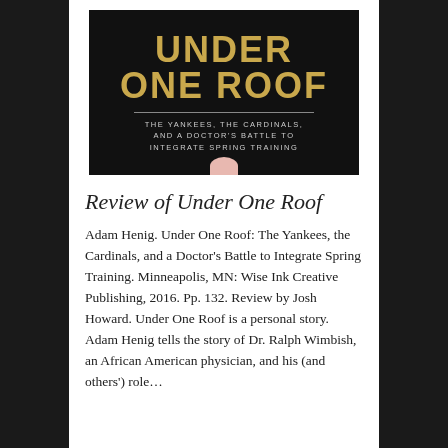[Figure (illustration): Book cover for 'Under One Roof: The Yankees, the Cardinals, and a Doctor's Battle to Integrate Spring Training' — black background with gold title text and small subtitle in white, with a partial hand/thumb at bottom.]
Review of Under One Roof
Adam Henig. Under One Roof: The Yankees, the Cardinals, and a Doctor's Battle to Integrate Spring Training. Minneapolis, MN: Wise Ink Creative Publishing, 2016. Pp. 132. Review by Josh Howard. Under One Roof is a personal story. Adam Henig tells the story of Dr. Ralph Wimbish, an African American physician, and his (and others') role…